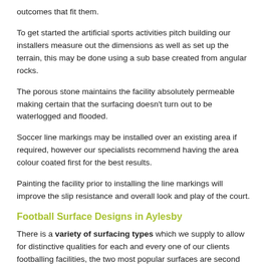outcomes that fit them.
To get started the artificial sports activities pitch building our installers measure out the dimensions as well as set up the terrain, this may be done using a sub base created from angular rocks.
The porous stone maintains the facility absolutely permeable making certain that the surfacing doesn’t turn out to be waterlogged and flooded.
Soccer line markings may be installed over an existing area if required, however our specialists recommend having the area colour coated first for the best results.
Painting the facility prior to installing the line markings will improve the slip resistance and overall look and play of the court.
Football Surface Designs in Aylesby
There is a variety of surfacing types which we supply to allow for distinctive qualities for each and every one of our clients footballing facilities, the two most popular surfaces are second generation and 3G manufactured grass.